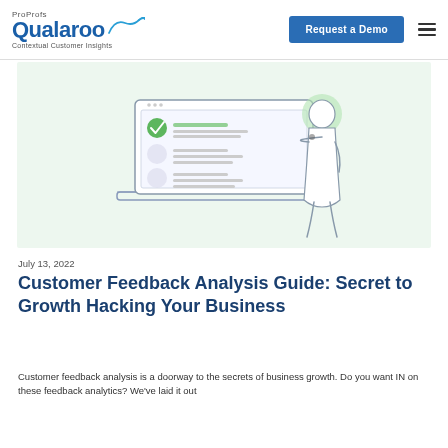ProProfs Qualaroo Contextual Customer Insights | Request a Demo
[Figure (illustration): Illustration of a person pointing at a laptop screen showing a feedback form with a green checkmark and list items, on a light green background.]
July 13, 2022
Customer Feedback Analysis Guide: Secret to Growth Hacking Your Business
Customer feedback analysis is a doorway to the secrets of business growth. Do you want IN on these feedback analytics? We've laid it out